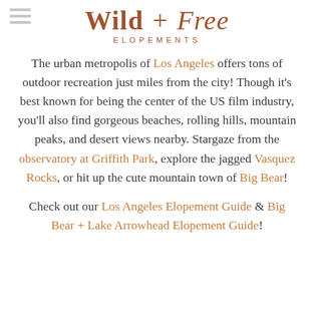[Figure (logo): Wild + Free Elopements logo with hamburger menu icon on the left. The logo features stylized serif/script typography in brown/copper color with 'Wild' in bold serif, '+ Free' in italic script, and 'ELOPEMENTS' in spaced uppercase beneath.]
The urban metropolis of Los Angeles offers tons of outdoor recreation just miles from the city! Though it's best known for being the center of the US film industry, you'll also find gorgeous beaches, rolling hills, mountain peaks, and desert views nearby. Stargaze from the observatory at Griffith Park, explore the jagged Vasquez Rocks, or hit up the cute mountain town of Big Bear!
Check out our Los Angeles Elopement Guide & Big Bear + Lake Arrowhead Elopement Guide!